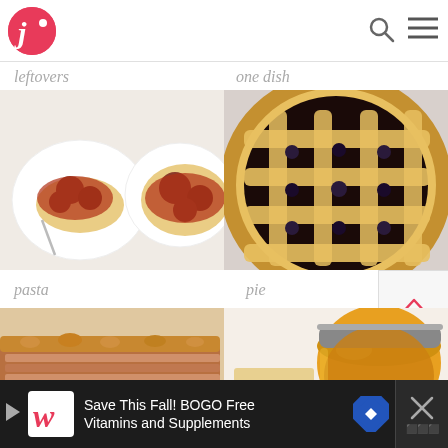[Figure (screenshot): App header with red circular logo with letter J and dot, search icon, and hamburger menu icon]
leftovers
one dish
[Figure (photo): Two white plates of spaghetti and meatballs with red sauce]
[Figure (photo): Blueberry pie with lattice crust, golden brown]
pasta
pie
[Figure (photo): Sliced roasted pork with golden crust]
[Figure (photo): Jar of orange jam or marmalade on white background]
Save This Fall! BOGO Free Vitamins and Supplements